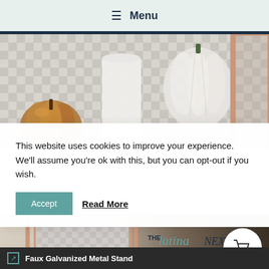☰ Menu
[Figure (photo): Decorative fall display with a bronze metallic pumpkin, white cylindrical vase, white knitted pumpkin, and a pink/rose gold picture frame on a gray buffalo check background.]
This website uses cookies to improve your experience. We'll assume you're ok with this, but you can opt-out if you wish.
Accept   Read More
[Figure (photo): Close-up of a rose gold picture frame corner against a burlap background, with 'THE Latina NEXTDO...' logo visible, and a shopping cart icon in a white circle on the right.]
Faux Galvanized Metal Stand